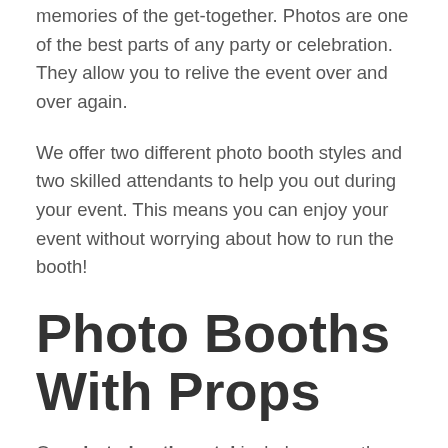memories of the get-together. Photos are one of the best parts of any party or celebration. They allow you to relive the event over and over again.
We offer two different photo booth styles and two skilled attendants to help you out during your event. This means you can enjoy your event without worrying about how to run the booth!
Photo Booths With Props
Our photo booth rental includes more than just a place to take some quick photos. Our